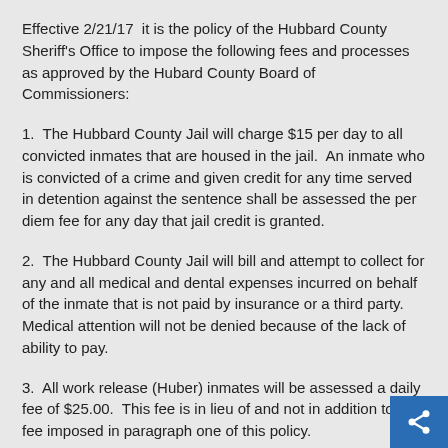Effective 2/21/17  it is the policy of the Hubbard County Sheriff's Office to impose the following fees and processes as approved by the Hubard County Board of Commissioners:
1.  The Hubbard County Jail will charge $15 per day to all convicted inmates that are housed in the jail.  An inmate who is convicted of a crime and given credit for any time served in detention against the sentence shall be assessed the per diem fee for any day that jail credit is granted.
2.  The Hubbard County Jail will bill and attempt to collect for any and all medical and dental expenses incurred on behalf of the inmate that is not paid by insurance or a third party.  Medical attention will not be denied because of the lack of ability to pay.
3.  All work release (Huber) inmates will be assessed a daily fee of $25.00.  This fee is in lieu of and not in addition to the fee imposed in paragraph one of this policy.
4.  Any unpaid balance owed to Hubbard County at the time of